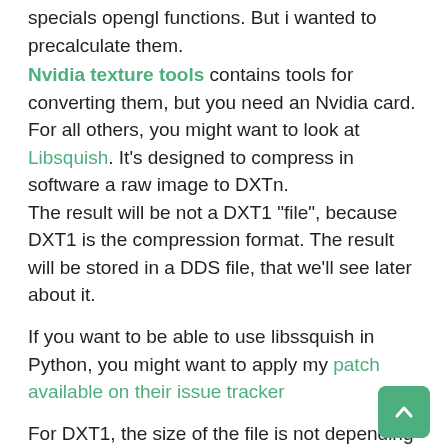specials opengl functions. But i wanted to precalculate them.
Nvidia texture tools contains tools for converting them, but you need an Nvidia card. For all others, you might want to look at Libsquish. It's designed to compress in software a raw image to DXTn. The result will be not a DXT1 "file", because DXT1 is the compression format. The result will be stored in a DDS file, that we'll see later about it.
If you want to be able to use libssquish in Python, you might want to apply my patch available on their issue tracker
For DXT1, the size of the file is not depending of the image content:
DXT1 2048x2048 RGBA = 2097152 bytes = 2MB